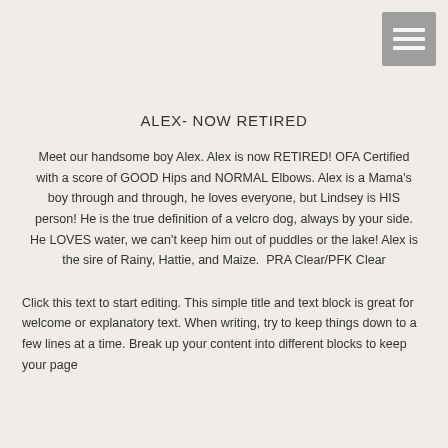[Figure (other): Hamburger menu icon button — three horizontal white bars on a grey square background, positioned in the top-right corner]
ALEX- NOW RETIRED
Meet our handsome boy Alex. Alex is now RETIRED! OFA Certified with a score of GOOD Hips and NORMAL Elbows. Alex is a Mama's boy through and through, he loves everyone, but Lindsey is HIS person! He is the true definition of a velcro dog, always by your side. He LOVES water, we can't keep him out of puddles or the lake! Alex is the sire of Rainy, Hattie, and Maize.  PRA Clear/PFK Clear
Click this text to start editing. This simple title and text block is great for welcome or explanatory text. When writing, try to keep things down to a few lines at a time. Break up your content into different blocks to keep your page